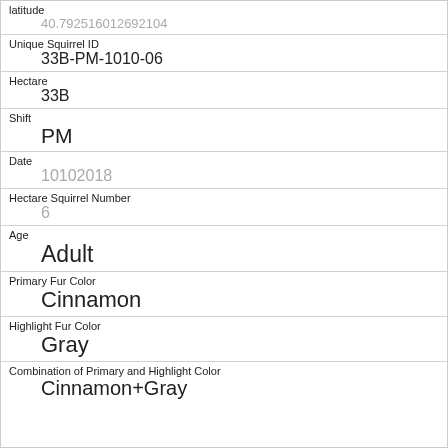| Field | Value |
| --- | --- |
| latitude | 40.792516012692104 |
| Unique Squirrel ID | 33B-PM-1010-06 |
| Hectare | 33B |
| Shift | PM |
| Date | 10102018 |
| Hectare Squirrel Number | 6 |
| Age | Adult |
| Primary Fur Color | Cinnamon |
| Highlight Fur Color | Gray |
| Combination of Primary and Highlight Color | Cinnamon+Gray |